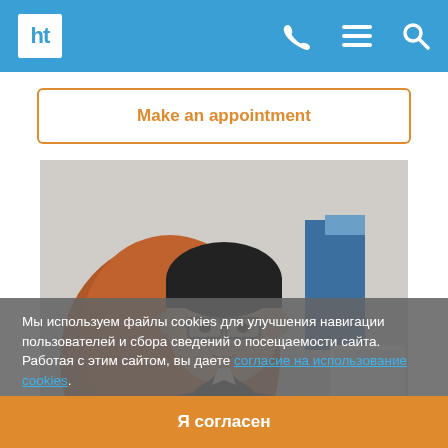ht [logo] — phone, menu, search icons
Make an appointment
[Figure (photo): Portrait photo of a middle-aged Asian man with glasses, wearing a dark suit jacket and tie, seated at a desk in an office setting with a brown chair and blue cabinet visible in the background]
Мы используем файлы cookies для улучшения навигации пользователей и сбора сведений о посещаемости сайта. Работая с этим сайтом, вы даете согласие на использование cookies.
Я согласен